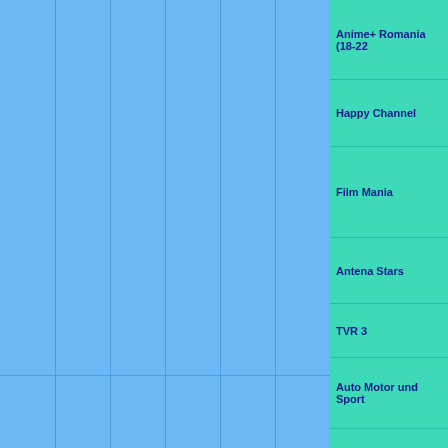|  |  |  |  |  | Channel |
| --- | --- | --- | --- | --- | --- |
|  |  |  |  |  | Anime+ Romania (18-22 |
|  |  |  |  |  | Happy Channel |
|  |  |  |  |  | Film Mania |
|  |  |  |  |  | Antena Stars |
|  |  |  |  |  | TVR 3 |
|  |  |  |  |  | Auto Motor und Sport |
|  |  |  |  |  | Sport Extra |
|  |  |  |  |  | Telenor |
|  |  |  |  |  | History Europe |
|  |  |  |  |  |  |